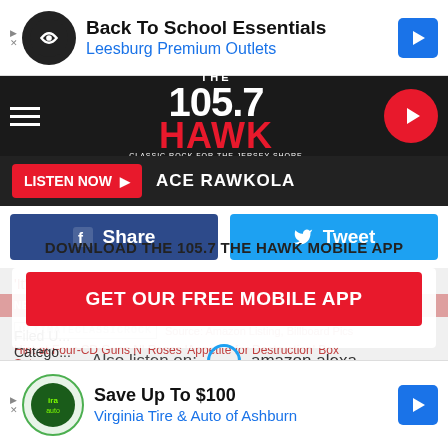[Figure (screenshot): Advertisement banner: Back To School Essentials, Leesburg Premium Outlets with a circular logo and blue arrow icon]
[Figure (logo): 105.7 The Hawk radio station logo with hamburger menu and play button]
LISTEN NOW   ACE RAWKOLA
[Figure (screenshot): Facebook Share button and Twitter Tweet button]
[Figure (screenshot): Modal overlay: DOWNLOAD THE 105.7 THE HAWK MOBILE APP, GET OUR FREE MOBILE APP button, Also listen on: Amazon Alexa]
Filed U...
Catego...
[Figure (screenshot): Bottom advertisement: Save Up To $100, Virginia Tire & Auto of Ashburn]